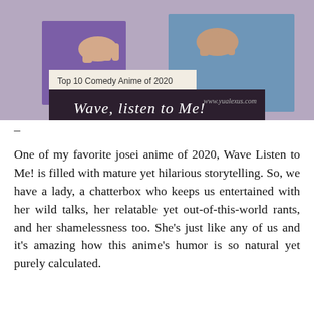[Figure (illustration): Anime illustration for 'Wave, Listen to Me!' showing characters with hands visible. A cream/polaroid-style card overlay reads 'Top 10 Comedy Anime of 2020' above a dark banner with cursive text 'Wave, listen to Me!' and watermark 'www.yualexus.com'.]
-
One of my favorite josei anime of 2020, Wave Listen to Me! is filled with mature yet hilarious storytelling. So, we have a lady, a chatterbox who keeps us entertained with her wild talks, her relatable yet out-of-this-world rants, and her shamelessness too. She's just like any of us and it's amazing how this anime's humor is so natural yet purely calculated.